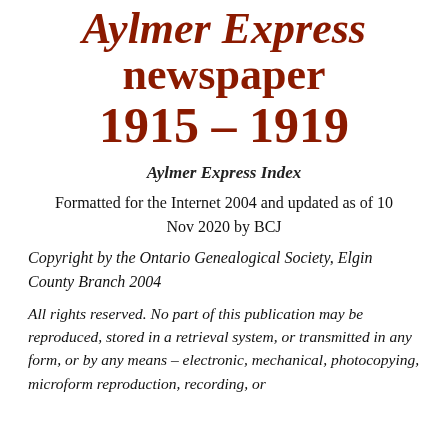Aylmer Express newspaper 1915 – 1919
Aylmer Express Index
Formatted for the Internet 2004 and updated as of 10 Nov 2020 by BCJ
Copyright by the Ontario Genealogical Society, Elgin County Branch 2004
All rights reserved. No part of this publication may be reproduced, stored in a retrieval system, or transmitted in any form, or by any means – electronic, mechanical, photocopying, microform reproduction, recording, or